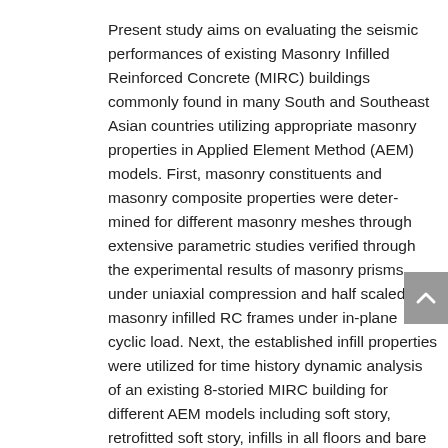Present study aims on evaluating the seismic performances of existing Masonry Infilled Reinforced Concrete (MIRC) buildings commonly found in many South and Southeast Asian countries utilizing appropriate masonry properties in Applied Element Method (AEM) models. First, masonry constituents and masonry composite properties were deter-mined for different masonry meshes through extensive parametric studies verified through the experimental results of masonry prisms under uniaxial compression and half scaled masonry infilled RC frames under in-plane cyclic load. Next, the established infill properties were utilized for time history dynamic analysis of an existing 8-storied MIRC building for different AEM models including soft story, retrofitted soft story, infills in all floors and bare RC frames ne-glecting stiffness contribution of infills. The analytical results revealed: 1) the unpredicted soft story column failure compared to the similar bare RC frame, 2) the inability of infills to improve the seismic performance of the